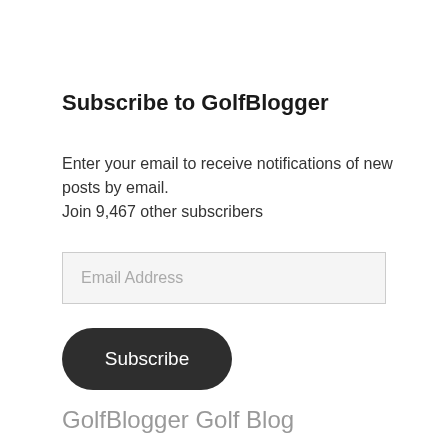Subscribe to GolfBlogger
Enter your email to receive notifications of new posts by email.
Join 9,467 other subscribers
Email Address
Subscribe
GolfBlogger Golf Blog